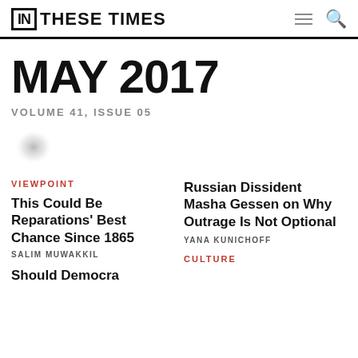IN THESE TIMES
MAY 2017
VOLUME 41, ISSUE 05
[Figure (illustration): Blurred circular blob/orb graphic]
VIEWPOINT
This Could Be Reparations’ Best Chance Since 1865
SALIM MUWAKKIL
Should Democra…
Russian Dissident Masha Gessen on Why Outrage Is Not Optional
YANA KUNICHOFF
CULTURE